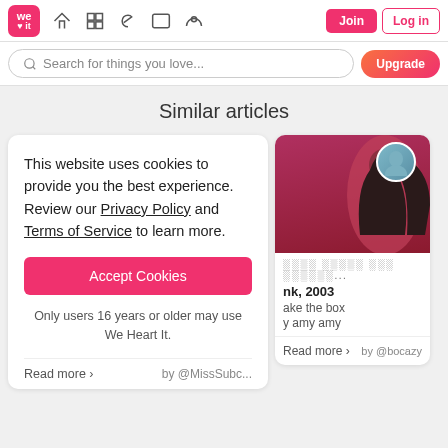[Figure (screenshot): We Heart It navigation bar with logo, icons, Join and Log in buttons]
[Figure (screenshot): Search bar with placeholder 'Search for things you love...' and Upgrade button]
Similar articles
This website uses cookies to provide you the best experience. Review our Privacy Policy and Terms of Service to learn more.
[Figure (screenshot): Accept Cookies button (pink/red)]
Only users 16 years or older may use We Heart It.
Read more ›   by @MissSubc...
[Figure (photo): Photo of a woman in a red/pink top with dark hair, with a circular profile image overlay]
                     ...
nk, 2003
ake the box
y amy amy
Read more ›   by @bocazy